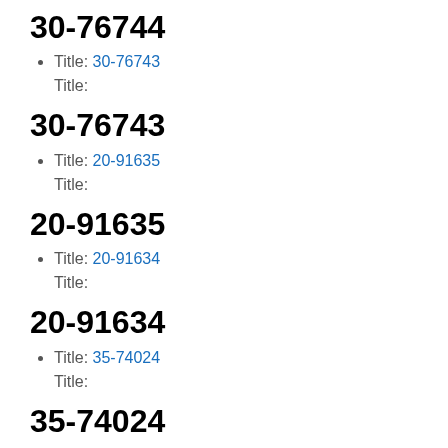30-76744
Title: 30-76743
Title:
30-76743
Title: 20-91635
Title:
20-91635
Title: 20-91634
Title:
20-91634
Title: 35-74024
Title:
35-74024
Title: 35-74023
Title:
35-74023